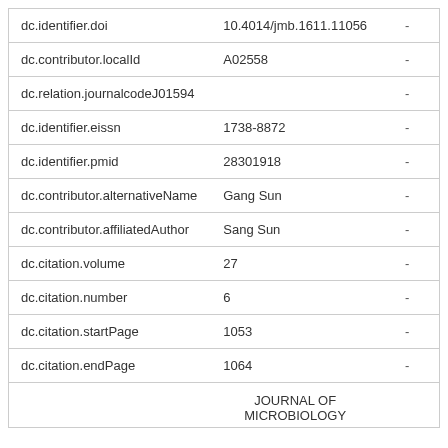| Field | Value |  |
| --- | --- | --- |
| dc.identifier.doi | 10.4014/jmb.1611.11056 | - |
| dc.contributor.localId | A02558 | - |
| dc.relation.journalcodeJ01594 |  | - |
| dc.identifier.eissn | 1738-8872 | - |
| dc.identifier.pmid | 28301918 | - |
| dc.contributor.alternativeName | Gang Sun | - |
| dc.contributor.affiliatedAuthor | Sang Sun | - |
| dc.citation.volume | 27 | - |
| dc.citation.number | 6 | - |
| dc.citation.startPage | 1053 | - |
| dc.citation.endPage | 1064 | - |
JOURNAL OF MICROBIOLOGY